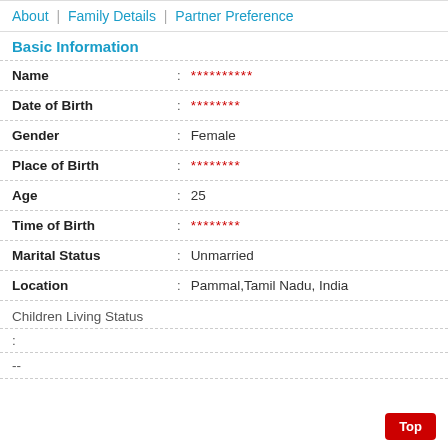About | Family Details | Partner Preference
Basic Information
| Field | : | Value |
| --- | --- | --- |
| Name | : | ********** |
| Date of Birth | : | ******** |
| Gender | : | Female |
| Place of Birth | : | ******** |
| Age | : | 25 |
| Time of Birth | : | ******** |
| Marital Status | : | Unmarried |
| Location | : | Pammal,Tamil Nadu, India |
Children Living Status
:
--